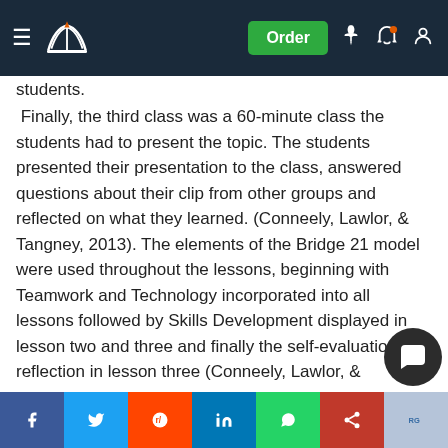Navigation bar with logo and Order button
students.
Finally, the third class was a 60-minute class the students had to present the topic. The students presented their presentation to the class, answered questions about their clip from other groups and reflected on what they learned. (Conneely, Lawlor, & Tangney, 2013). The elements of the Bridge 21 model were used throughout the lessons, beginning with Teamwork and Technology incorporated into all lessons followed by Skills Development displayed in lesson two and three and finally the self-evaluation of reflection in lesson three (Conneely, Lawlor, & Tangney, 2013).  An aspect that I noticed in this class was that students were engaged with the Prezi the fact that it's different then what they were used to. Students put all creativity into the Prezi and I felt that this paid off as all the students re
Social share bar: Facebook, Twitter, Reddit, LinkedIn, WhatsApp, share, ResearchGate